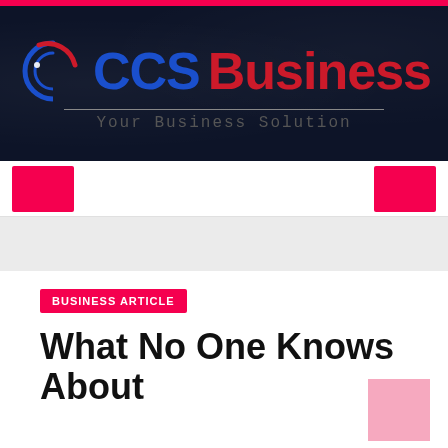[Figure (logo): CCS Business logo with circular blue swoosh icon, 'CCS' in blue bold text and 'Business' in red bold text on dark navy background, tagline 'Your Business Solution' in monospace]
CCS Business — Your Business Solution
BUSINESS ARTICLE
What No One Knows About